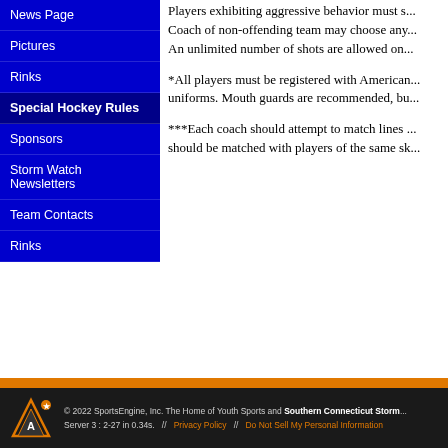News Page
Pictures
Rinks
Special Hockey Rules
Sponsors
Storm Watch Newsletters
Team Contacts
Rinks
Players exhibiting aggressive behavior must s... Coach of non-offending team may choose any... An unlimited number of shots are allowed on...
*All players must be registered with American... uniforms. Mouth guards are recommended, bu...
***Each coach should attempt to match lines... should be matched with players of the same sk...
© 2022 SportsEngine, Inc. The Home of Youth Sports and Southern Connecticut Storm. Server 3 : 2-27 in 0.34s.  //  Privacy Policy  //  Do Not Sell My Personal Information